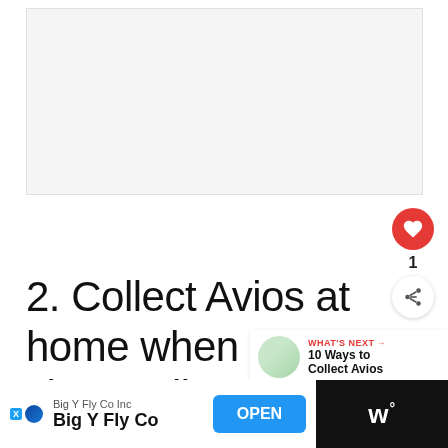[Figure (other): Empty light gray placeholder box at top of page (advertisement or image placeholder area)]
2. Collect Avios at home when you shop online SuperValu
[Figure (infographic): What's Next panel: circular thumbnail image with text 'WHAT'S NEXT → 10 Ways to Collect Avios']
[Figure (other): Mobile advertisement bar at bottom: Big Y Fly Co Inc / Big Y Fly Co with OPEN button and weather widget logo]